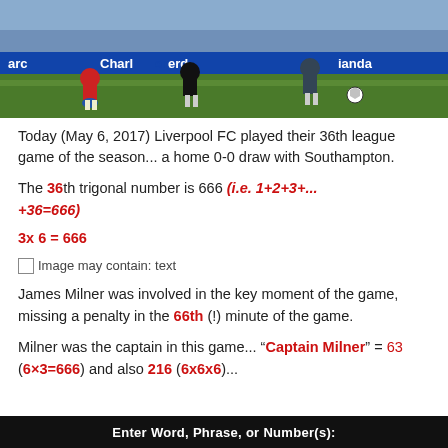[Figure (photo): Football/soccer match photo showing players on a pitch with advertising boards visible (Charlton/Standard branding). Players in red and dark kits running on green grass.]
Today (May 6, 2017) Liverpool FC played their 36th league game of the season... a home 0-0 draw with Southampton.
The 36th trigonal number is 666 (i.e. 1+2+3+...+36=666)
3x 6 = 666
Image may contain: text
James Milner was involved in the key moment of the game, missing a penalty in the 66th (!) minute of the game.
Milner was the captain in this game... “Captain Milner” = 63 (6×3=666) and also 216 (6x6x6)...
Enter Word, Phrase, or Number(s):